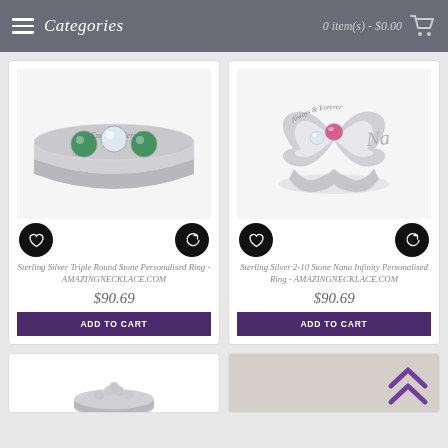Categories | 0 item(s) - $0.00
[Figure (photo): Sterling silver triple round stone ring with green and clear gemstones, engraved 'Engrave Here']
Sterling Silver Triple Round Stone Personalised Ring - AMAZINGNECKLACE.COM
$90.69
ADD TO CART
[Figure (photo): Sterling silver infinity ring with 'Always & Forever' engraving and pink gemstone, Nana design]
Sterling Silver 2-10 Stone Nana Infinity Personalised Ring - AMAZINGNECKLACE.COM
$90.69
ADD TO CART
[Figure (photo): Partial view of another ring product at the bottom]
[Figure (photo): Partial product image with beige/tan background]